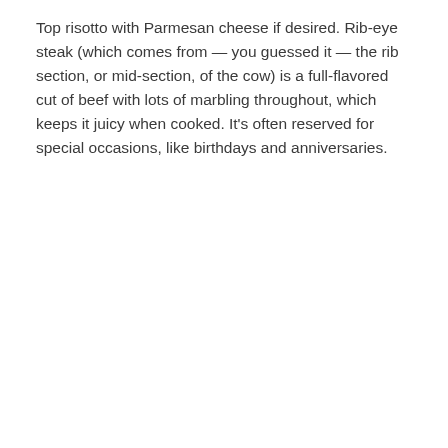Top risotto with Parmesan cheese if desired. Rib-eye steak (which comes from — you guessed it — the rib section, or mid-section, of the cow) is a full-flavored cut of beef with lots of marbling throughout, which keeps it juicy when cooked. It's often reserved for special occasions, like birthdays and anniversaries.